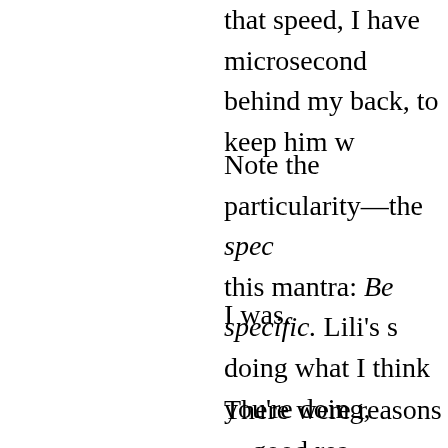that speed, I have microsecond behind my back, to keep him w
Note the particularity—the spec this mantra: Be specific. Lili's s doing what I think you're doing,
I was.
There were reasons—good rea hard task, that) before rush hou calculated we'd gone over 45 m
The atmosphere in the car was we drove all the way back and a handsome little goat. But kidn
Maybe she had not left him the NannyGoat. His disappearance